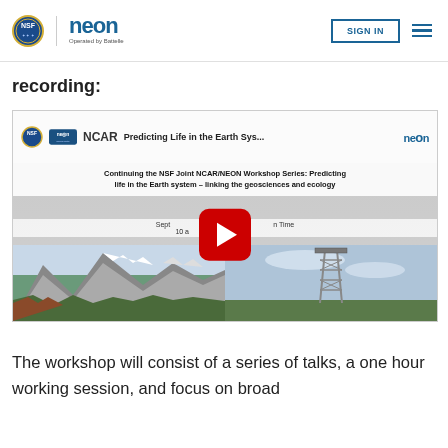NEON | Operated by Battelle — SIGN IN
recording:
[Figure (screenshot): YouTube video embed thumbnail for 'Predicting Life in the Earth Sys...' — Continuing the NSF Joint NCAR/NEON Workshop Series: Predicting life in the Earth system – linking the geosciences and ecology. September 10 at [time] Mountain Time. Shows mountain landscape and measurement tower photos with YouTube play button overlay.]
The workshop will consist of a series of talks, a one hour working session, and focus on broad